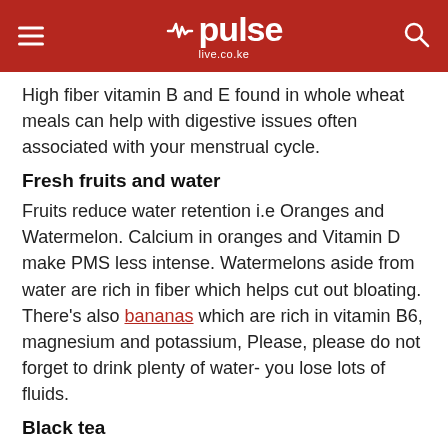pulse live.co.ke
High fiber vitamin B and E found in whole wheat meals can help with digestive issues often associated with your menstrual cycle.
Fresh fruits and water
Fruits reduce water retention i.e Oranges and Watermelon. Calcium in oranges and Vitamin D make PMS less intense. Watermelons aside from water are rich in fiber which helps cut out bloating. There's also bananas which are rich in vitamin B6, magnesium and potassium, Please, please do not forget to drink plenty of water- you lose lots of fluids.
Black tea
Sturungi helps relieve muscle spasms and reduce tension